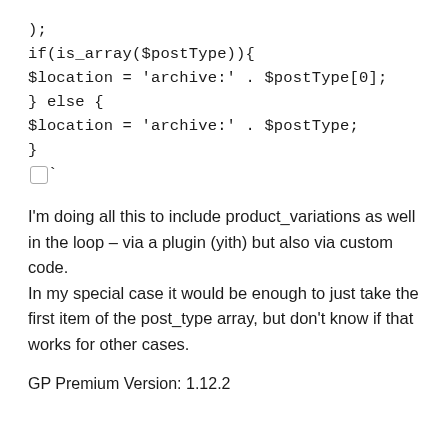);
if(is_array($postType)){
$location = 'archive:' . $postType[0];
} else {
$location = 'archive:' . $postType;
}
`
I'm doing all this to include product_variations as well in the loop – via a plugin (yith) but also via custom code.
In my special case it would be enough to just take the first item of the post_type array, but don't know if that works for other cases.
GP Premium Version: 1.12.2